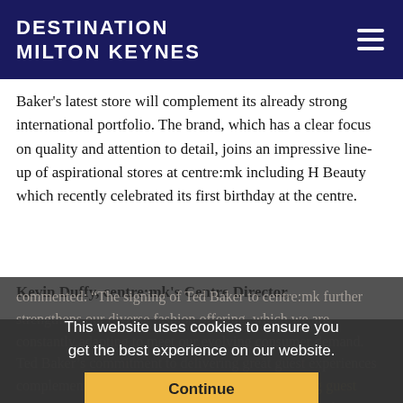DESTINATION MILTON KEYNES
Baker’s latest store will complement its already strong international portfolio. The brand, which has a clear focus on quality and attention to detail, joins an impressive line-up of aspirational stores at centre:mk including H Beauty which recently celebrated its first birthday at the centre.
Kevin Duffy, centre:mk’s Centre Director,
commented: “The signing of Ted Baker to centre:mk further strengthens our diverse fashion offering, which we are constantly adapting to meet our evolving consumer demand. Ted Baker’s commitment to delivering great guest experiences complements our own internationally award-winning guest services, and the brand’s reputable fashion offering makes it a fitting addition to the centre.”
This website uses cookies to ensure you get the best experience on our website.
Continue